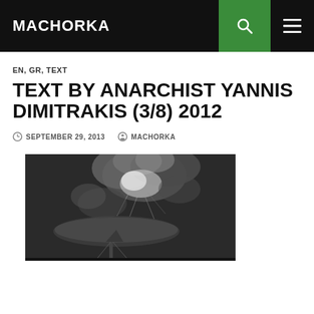MACHORKA
EN, GR, TEXT
TEXT BY ANARCHIST YANNIS DIMITRAKIS (3/8) 2012
SEPTEMBER 29, 2013  MACHORKA
[Figure (photo): Black and white historical photograph of a large airship (zeppelin) on fire, with dramatic explosion and smoke clouds billowing above it, with a mooring mast visible below.]